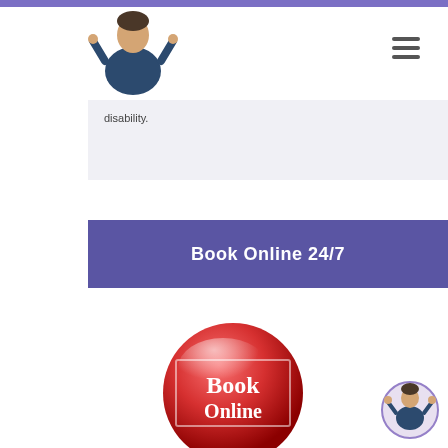[Figure (photo): Doctor in blue scrubs giving thumbs up, website header logo]
[Figure (illustration): Hamburger menu icon (three horizontal lines)]
disability.
[Figure (other): Book Online 24/7 purple button]
[Figure (photo): Red glossy round button with text Book Online]
[Figure (photo): Small doctor icon in bottom right corner]